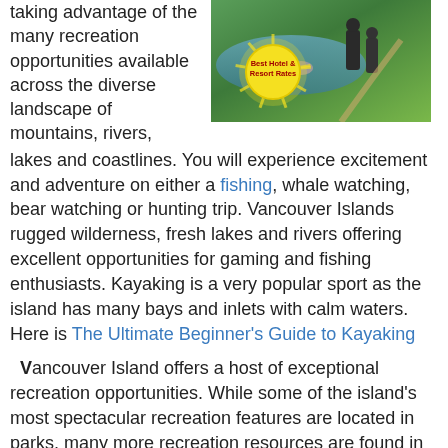taking advantage of the many recreation opportunities available across the diverse landscape of mountains, rivers, lakes and coastlines. You will experience excitement and adventure on either a fishing, whale watching, bear watching or hunting trip. Vancouver Islands rugged wilderness, fresh lakes and rivers offering excellent opportunities for gaming and fishing enthusiasts. Kayaking is a very popular sport as the island has many bays and inlets with calm waters. Here is The Ultimate Beginner's Guide to Kayaking
[Figure (photo): Outdoor recreation photo showing people near a river/stream with greenery, overlaid with a yellow circular badge reading 'Best Hotel & Resort Rates']
Vancouver Island offers a host of exceptional recreation opportunities. While some of the island's most spectacular recreation features are located in parks, many more recreation resources are found in the rugged backcountry.